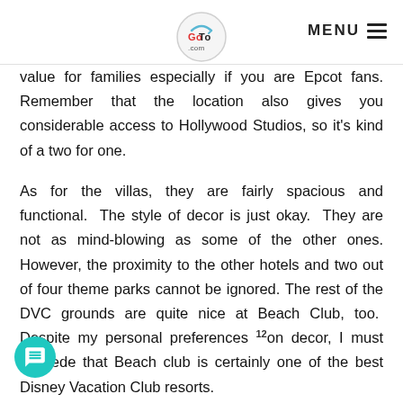GoTo (logo) | MENU
value for families especially if you are Epcot fans. Remember that the location also gives you considerable access to Hollywood Studios, so it's kind of a two for one.
As for the villas, they are fairly spacious and functional. The style of decor is just okay. They are not as mind-blowing as some of the other ones. However, the proximity to the other hotels and two out of four theme parks cannot be ignored. The rest of the DVC grounds are quite nice at Beach Club, too. Despite my personal preferences on decor, I must concede that Beach club is certainly one of the best Disney Vacation Club resorts.